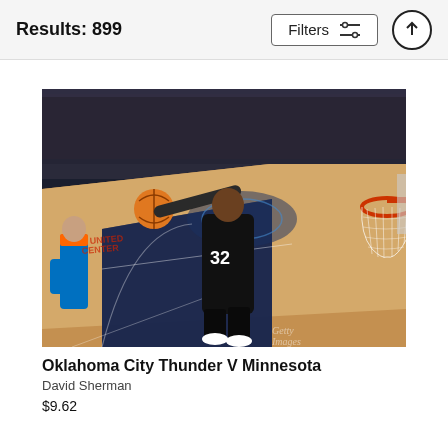Results: 899
[Figure (photo): NBA basketball game action shot: Player #32 (Karl-Anthony Towns) of the Minnesota Timberwolves going up for a dunk/layup near the basket. Oklahoma City Thunder player visible on the left in blue and orange uniform. Arena crowd in background. Basketball court with Timberwolves logo at center. Orange basketball hoop/rim visible on right side. Watermark from image library visible in bottom right.]
Oklahoma City Thunder V Minnesota
David Sherman
$9.62